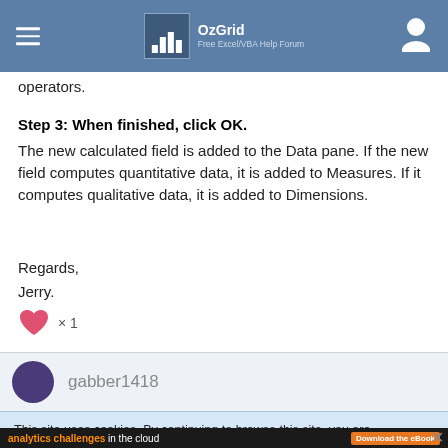OzGrid — Free Excel/VBA Help Forum
operators.
Step 3: When finished, click OK.
The new calculated field is added to the Data pane. If the new field computes quantitative data, it is added to Measures. If it computes qualitative data, it is added to Dimensions.
Regards,
Jerry.
[Figure (infographic): Heart like icon with x1 count]
gabber1418
This site uses cookies. By continuing to browse this site, you are
[Figure (infographic): Advertisement banner: analytics challenges in the cloud, Download the eBook button]